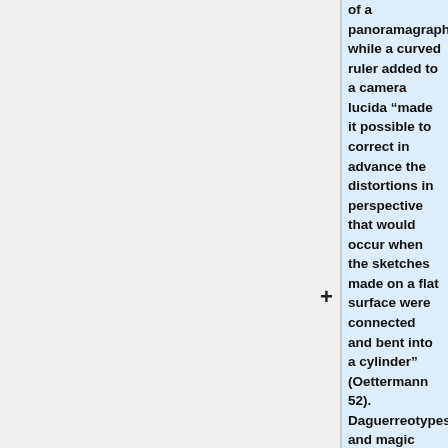of a panoramagraph, while a curved ruler added to a camera lucida “made it possible to correct in advance the distortions in perspective that would occur when the sketches made on a flat surface were connected and bent into a cylinder” (Oettermann 52). Daguerreotypes and magic lanterns were also used for sketches and their subsequent projection onto a gridded panorama canvas for tracing. Other